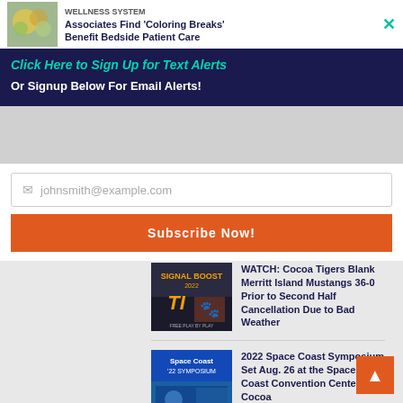Associates Find 'Coloring Breaks' Benefit Bedside Patient Care
Click Here to Sign Up for Text Alerts
Or Signup Below For Email Alerts!
johnsmith@example.com
Subscribe Now!
WATCH: Cocoa Tigers Blank Merritt Island Mustangs 36-0 Prior to Second Half Cancellation Due to Bad Weather
2022 Space Coast Symposium Set Aug. 26 at the Space Coast Convention Center in Cocoa
EMPLOYMENT OPPORTUNITY: Health First to Host Hiring Event at Brevard Zoo Nyami Nyami River Lodge Aug. 23